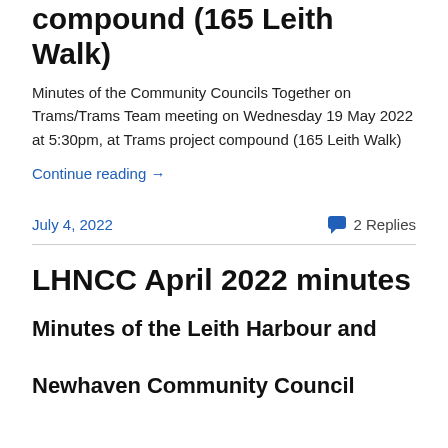compound (165 Leith Walk)
Minutes of the Community Councils Together on Trams/Trams Team meeting on Wednesday 19 May 2022 at 5:30pm, at Trams project compound (165 Leith Walk)
Continue reading →
July 4, 2022
2 Replies
LHNCC April 2022 minutes
Minutes of the Leith Harbour and Newhaven Community Council